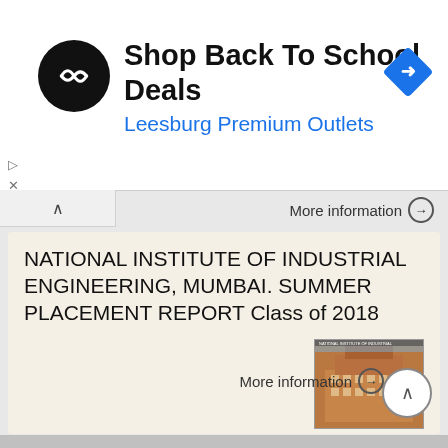[Figure (screenshot): Advertisement banner: circular black logo with double arrow icon, text 'Shop Back To School Deals' in bold black and 'Leesburg Premium Outlets' in blue, blue diamond navigation arrow icon on right]
NATIONAL INSTITUTE OF INDUSTRIAL ENGINEERING, MUMBAI. SUMMER PLACEMENT REPORT Class of 2018
NATIONAL INSTITUTE OF INDUSTRIAL ENGINEERING, MUMBAI SUMMER PLACEMENT REPORT Class of 2018 MESSAGE FROM DEAN NITIE has unexceptionally churned excellence in all domains of Post Graduate education ever